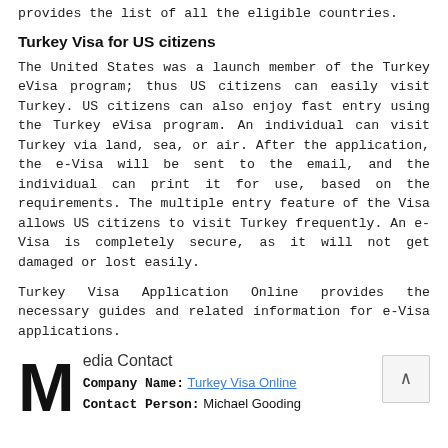provides the list of all the eligible countries.
Turkey Visa for US citizens
The United States was a launch member of the Turkey eVisa program; thus US citizens can easily visit Turkey. US citizens can also enjoy fast entry using the Turkey eVisa program. An individual can visit Turkey via land, sea, or air. After the application, the e-Visa will be sent to the email, and the individual can print it for use, based on the requirements. The multiple entry feature of the Visa allows US citizens to visit Turkey frequently. An e-Visa is completely secure, as it will not get damaged or lost easily.
Turkey Visa Application Online provides the necessary guides and related information for e-Visa applications.
Media Contact
Company Name: Turkey Visa Online
Contact Person: Michael Gooding